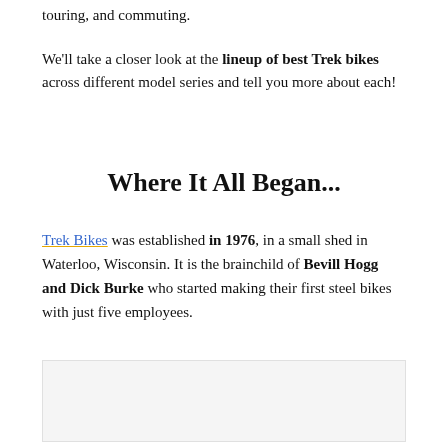touring, and commuting.
We'll take a closer look at the lineup of best Trek bikes across different model series and tell you more about each!
Where It All Began...
Trek Bikes was established in 1976, in a small shed in Waterloo, Wisconsin. It is the brainchild of Bevill Hogg and Dick Burke who started making their first steel bikes with just five employees.
[Figure (photo): Light gray rectangular image placeholder area at the bottom of the page]